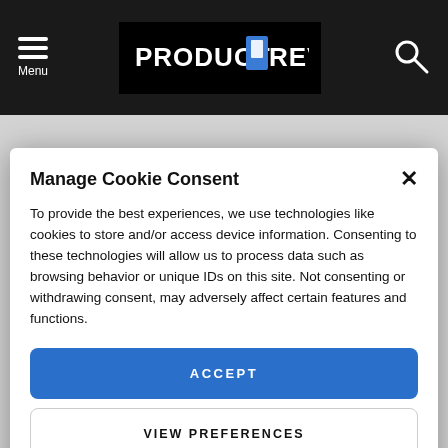Menu | PRODUCT REVIEWS
Manage Cookie Consent
To provide the best experiences, we use technologies like cookies to store and/or access device information. Consenting to these technologies will allow us to process data such as browsing behavior or unique IDs on this site. Not consenting or withdrawing consent, may adversely affect certain features and functions.
ACCEPT
VIEW PREFERENCES
Cookie Policy  Privacy Policy
planned, as we have just gained a little more insight.
There is always so much to look forward to when a